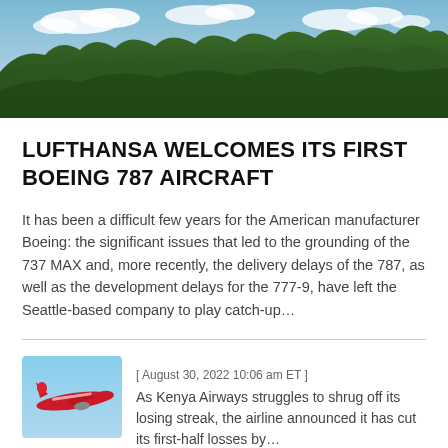[Figure (photo): Landscape photo showing a row of green trees under a blue sky with scattered white clouds]
LUFTHANSA WELCOMES ITS FIRST BOEING 787 AIRCRAFT
It has been a difficult few years for the American manufacturer Boeing: the significant issues that led to the grounding of the 737 MAX and, more recently, the delivery delays of the 787, as well as the development delays for the 777-9, have left the Seattle-based company to play catch-up…
[Figure (photo): Thumbnail photo of a red Kenya Airways aircraft in flight against a blue sky]
[ August 30, 2022 10:06 am ET ]
As Kenya Airways struggles to shrug off its losing streak, the airline announced it has cut its first-half losses by…